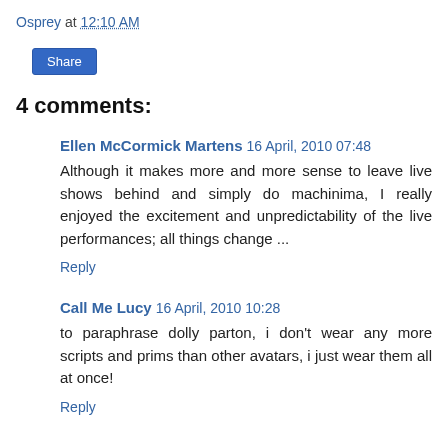Osprey at 12:10 AM
Share
4 comments:
Ellen McCormick Martens  16 April, 2010 07:48
Although it makes more and more sense to leave live shows behind and simply do machinima, I really enjoyed the excitement and unpredictability of the live performances; all things change ...
Reply
Call Me Lucy  16 April, 2010 10:28
to paraphrase dolly parton, i don't wear any more scripts and prims than other avatars, i just wear them all at once!
Reply